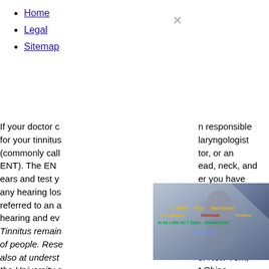Home
Legal
Sitemap
If your doctor c... n responsible for your tinnitus... laryngologist (commonly call... tor, or an ENT). The EN... ead, neck, and ears and test y... er you have any hearing los... night also be referred to an a... re your hearing and ev... Tinnitus remain... ves of millions of people. Rese... treatment, but also at underst... by doctors at the University a... of New York, Dalhousie Univ... t China University have... trophysiology and functional ... parts of the brain are invol... n of tinnitus. Their research... as of the brain are involved wi... previously believed, which... tic and
[Figure (infographic): Advertisement image with text overlay: '1 Weird Trick That Forces Your Body to Eliminate Tinnitus In As Little As 7 Days - Guaranteed!' with a woman holding her head and a blue/purple geometric background, with 'Take me there' CTA button]